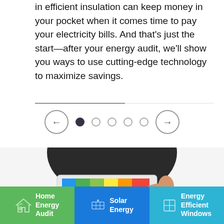in efficient insulation can keep money in your pocket when it comes time to pay your electricity bills. And that's just the start—after your energy audit, we'll show you ways to use cutting-edge technology to maximize savings.
[Figure (screenshot): Navigation carousel with left/right arrow buttons and 5 dot indicators (first dot active), followed by a circular cropped image of a tablet being held showing an energy audit screen]
[Figure (infographic): Bottom navigation bar with three colored sections: green 'Home Energy Audit' with house icon, blue 'Solar Energy' with solar panel icon, cyan 'Energy Efficient Windows' with window icon]